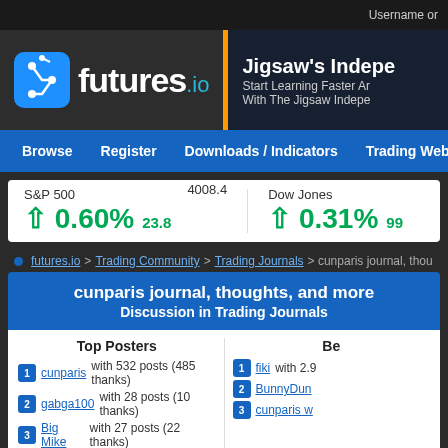Username or
[Figure (logo): futures.io logo with blue icon and text]
Jigsaw's Indepe
Start Learning Faster An
With The Jigsaw Indepen
Browse | Register | Downloads / Indicators | Trading Webinars | Articl
S&P 500 4008.4 ▲ 0.60% 23.8 | Dow Jones ▲ 0.31% 99
futures.io > Trading Community > Trading Journals > cunparis journal, thou
cunparis journal, thoughts, and more
Discussion in Trading Journals
Top Posters
1 cunparis with 532 posts (485 thanks)
2 gabga100 with 28 posts (10 thanks)
3 Big Mike with 27 posts (22 thanks)
1 fiki with 2.9...
2 BunnyDun...
3 cunparis w...